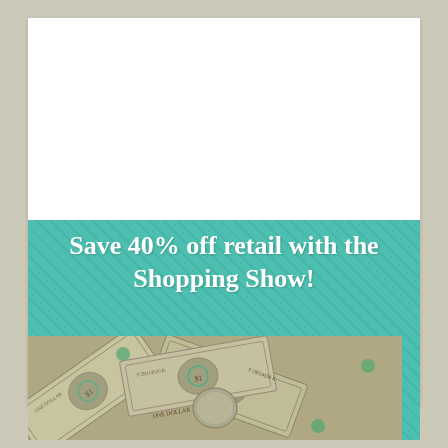[Figure (other): White blank/empty box area on a beige background]
[Figure (infographic): Teal card with white bold text 'Save 40% off retail with the Shopping Show!' and a photo of scattered US dollar bills arranged in a fan pattern below]
Save 40% off retail with the Shopping Show!